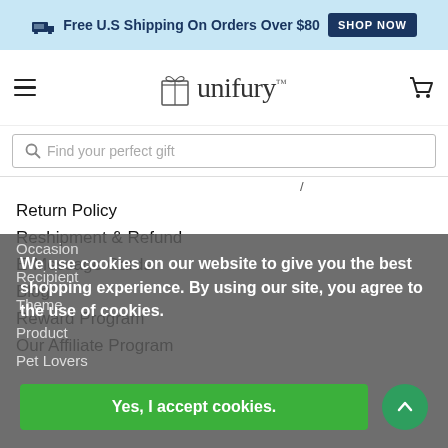Free U.S Shipping On Orders Over $80  SHOP NOW
[Figure (logo): Unifury logo with gift box icon and wordmark]
Find your perfect gift
Return Policy
Reshipment & Refund
E-Message Cards
Blog
Reward Program
Our Affiliate Program
Occasion
Recipient
Theme
Product
Pet Lovers
We use cookies on our website to give you the best shopping experience. By using our site, you agree to the use of cookies.
Yes, I accept cookies.